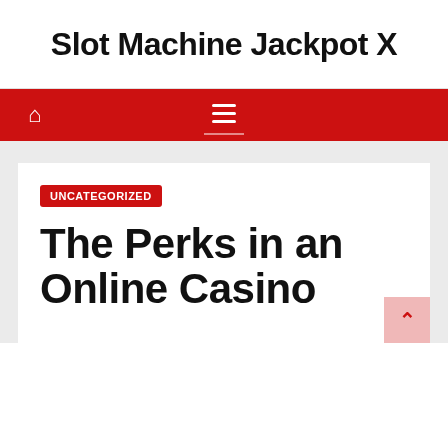Slot Machine Jackpot X
UNCATEGORIZED
The Perks in an Online Casino